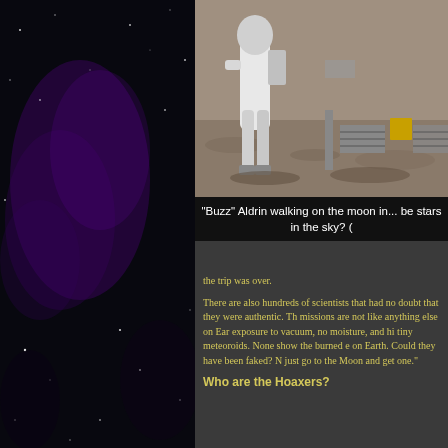[Figure (photo): Space/galaxy background on the left panel — dark black with purple nebula clouds and scattered stars]
[Figure (photo): Buzz Aldrin walking on the moon surface near scientific equipment including solar panels and instruments, wearing a white spacesuit]
"Buzz" Aldrin walking on the moon in... be stars in the sky? (
the trip was over.
There are also hundreds of scientists that had no doubt that they were authentic. Th missions are not like anything else on Ear exposure to vacuum, no moisture, and hi tiny meteoroids. None show the burned e on Earth. Could they have been faked? N just go to the Moon and get one."
Who are the Hoaxers?